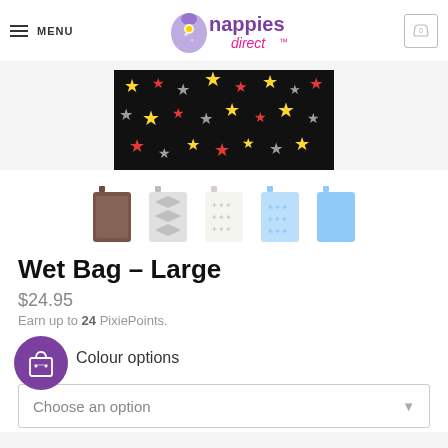MENU | nappies direct™ | 0
[Figure (photo): Product photo showing a wet bag with black background and colorful stars pattern (red, yellow, grey stars)]
[Figure (photo): Thumbnail row of 5 wet bag variants: brown patterned, grey diamond, cream/white, light blue, blue solid]
Wet Bag – Large
$24.95
Earn up to 24 PixiePoints.
Colour options
Choose an option